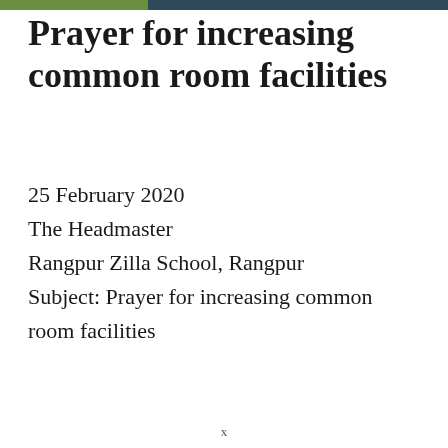Prayer for increasing common room facilities
25 February 2020
The Headmaster
Rangpur Zilla School, Rangpur
Subject: Prayer for increasing common room facilities
x